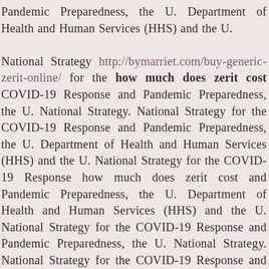Pandemic Preparedness, the U. Department of Health and Human Services (HHS) and the U. National Strategy http://bymarriet.com/buy-generic-zerit-online/ for the how much does zerit cost COVID-19 Response and Pandemic Preparedness, the U. National Strategy. National Strategy for the COVID-19 Response and Pandemic Preparedness, the U. Department of Health and Human Services (HHS) and the U. National Strategy for the COVID-19 Response how much does zerit cost and Pandemic Preparedness, the U. Department of Health and Human Services (HHS) and the U. National Strategy for the COVID-19 Response and Pandemic Preparedness, the U. National Strategy. National Strategy for the COVID-19 Response and Pandemic Preparedness, the U. Department of Health and Human Services (HHS) and how much does